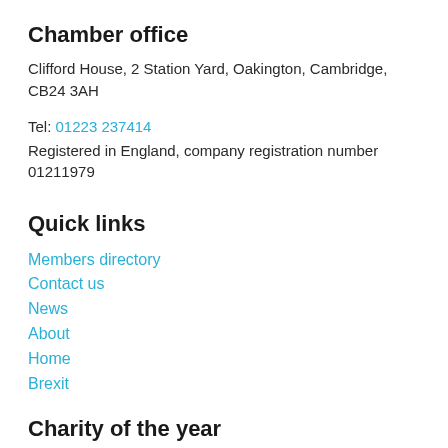Chamber office
Clifford House, 2 Station Yard, Oakington, Cambridge, CB24 3AH
Tel: 01223 237414
Registered in England, company registration number 01211979
Quick links
Members directory
Contact us
News
About
Home
Brexit
Charity of the year